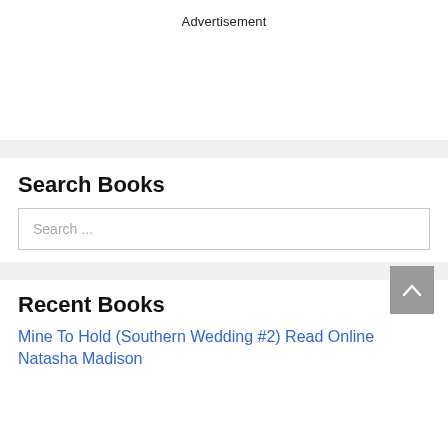Advertisement
Search Books
Search ...
Recent Books
Mine To Hold (Southern Wedding #2) Read Online Natasha Madison